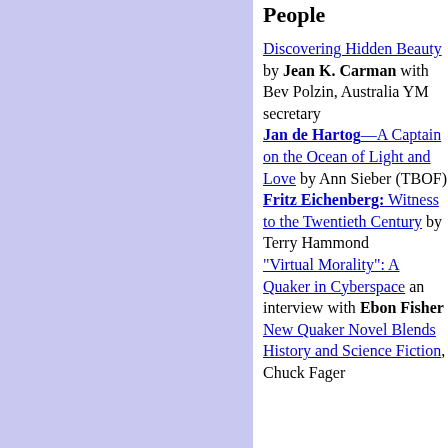[Figure (other): Lavender/periwinkle blue rectangle filling the left column of the page]
People
Discovering Hidden Beauty by Jean K. Carman with Bev Polzin, Australia YM secretary Jan de Hartog—A Captain on the Ocean of Light and Love by Ann Sieber (TBOF) Fritz Eichenberg: Witness to the Twentieth Century by Terry Hammond "Virtual Morality": A Quaker in Cyberspace an interview with Ebon Fisher New Quaker Novel Blends History and Science Fiction, Chuck Fager